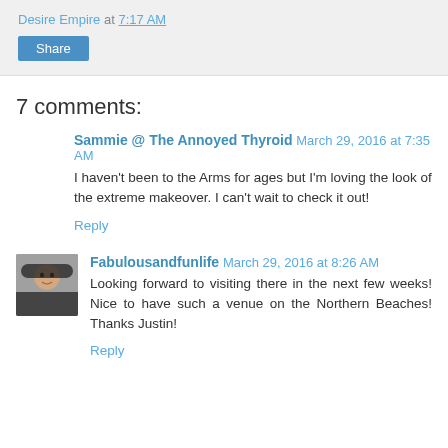Desire Empire at 7:17 AM
Share
7 comments:
Sammie @ The Annoyed Thyroid March 29, 2016 at 7:35 AM
I haven't been to the Arms for ages but I'm loving the look of the extreme makeover. I can't wait to check it out!
Reply
Fabulousandfunlife March 29, 2016 at 8:26 AM
Looking forward to visiting there in the next few weeks! Nice to have such a venue on the Northern Beaches! Thanks Justin!
Reply